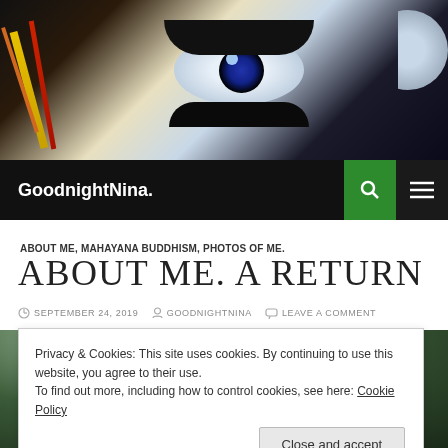[Figure (photo): Close-up artistic photo of eyes with colorful streaks, used as blog header image]
GoodnightNina.
ABOUT ME, MAHAYANA BUDDHISM, PHOTOS OF ME.
ABOUT ME. A RETURN
SEPTEMBER 24, 2019   GOODNIGHTNINA   LEAVE A COMMENT
[Figure (photo): Outdoor photo partially obscured by cookie consent banner]
Privacy & Cookies: This site uses cookies. By continuing to use this website, you agree to their use.
To find out more, including how to control cookies, see here: Cookie Policy
Close and accept